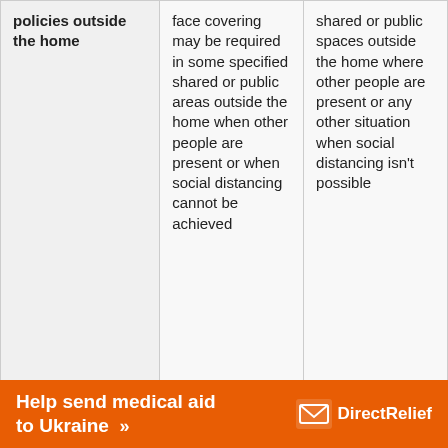| policies outside the home | face covering may be required in some specified shared or public areas outside the home when other people are present or when social distancing cannot be achieved | shared or public spaces outside the home where other people are present or any other situation when social distancing isn't possible |
| Vaccine delivery policies for different groups | Vaccines are not available | Vaccines available to all |
| Policy for | Some restrictions | No Changes |
[Figure (other): Orange advertisement banner reading 'Help send medical aid to Ukraine >>' with Direct Relief logo on the right]